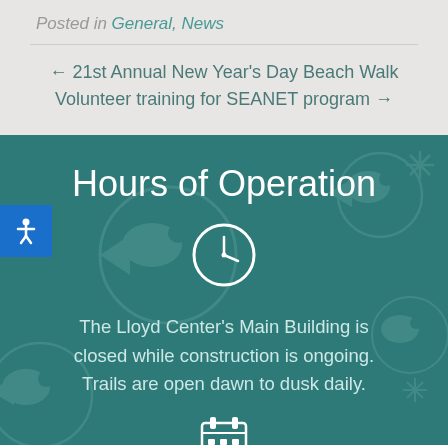Posted in General, News
← 21st Annual New Year's Day Beach Walk
Volunteer training for SEANET program →
Hours of Operation
[Figure (illustration): Clock icon — white circle with clock hands on teal background]
The Lloyd Center's Main Building is closed while construction is ongoing. Trails are open dawn to dusk daily.
[Figure (illustration): Calendar/schedule icon at bottom of teal section]